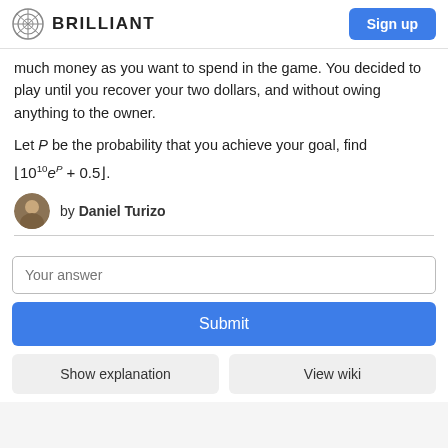BRILLIANT | Sign up
much money as you want to spend in the game. You decided to play until you recover your two dollars, and without owing anything to the owner.
Let P be the probability that you achieve your goal, find ⌊10^10 e^P + 0.5⌋.
by Daniel Turizo